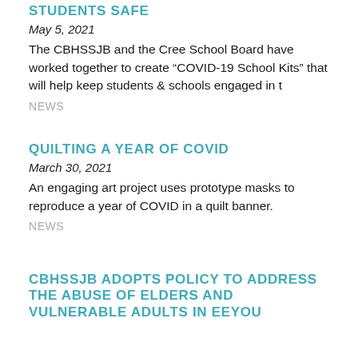STUDENTS SAFE
May 5, 2021
The CBHSSJB and the Cree School Board have worked together to create “COVID-19 School Kits” that will help keep students & schools engaged in t
NEWS
QUILTING A YEAR OF COVID
March 30, 2021
An engaging art project uses prototype masks to reproduce a year of COVID in a quilt banner.
NEWS
CBHSSJB ADOPTS POLICY TO ADDRESS THE ABUSE OF ELDERS AND VULNERABLE ADULTS IN EEYOU